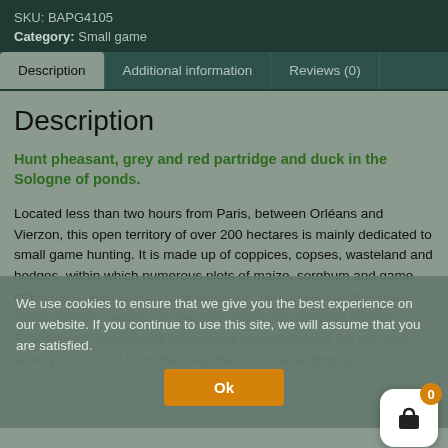SKU: BAPG4105
Category: Small game
Description | Additional information | Reviews (0)
Description
Hunt pheasant, grey and red partridge and duck in the Sologne of ponds.
Located less than two hours from Paris, between Orléans and Vierzon, this open territory of over 200 hectares is mainly dedicated to small game hunting. It is made up of coppices, copses, wasteland and hedges, within which numerous plots of maize, sorghum and game crops have been sown. Three ponds are also present on the territory, which provides woodcock, teal and mallard during the migration periods. Experienced rabators will accompany you throughout the day and allow you to shoot birds that defy the most demanding guns.
We use cookies to ensure that we give you the best experience on our website. If you continue to use this site, we will assume that you are satisfied.